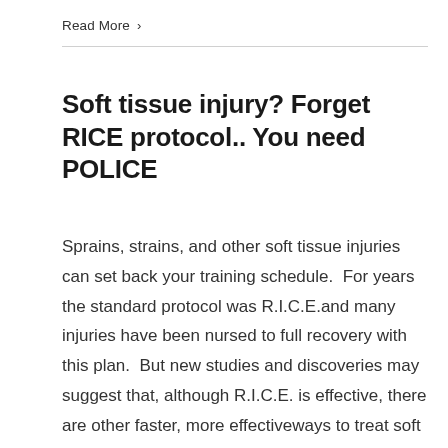Read More >
Soft tissue injury? Forget RICE protocol.. You need POLICE
Sprains, strains, and other soft tissue injuries can set back your training schedule.  For years the standard protocol was R.I.C.E.and many injuries have been nursed to full recovery with this plan.  But new studies and discoveries may suggest that, although R.I.C.E. is effective, there are other faster, more effectiveways to treat soft tissue injuries.  A recent study published in the British Journal of Sports Medicine has many health and